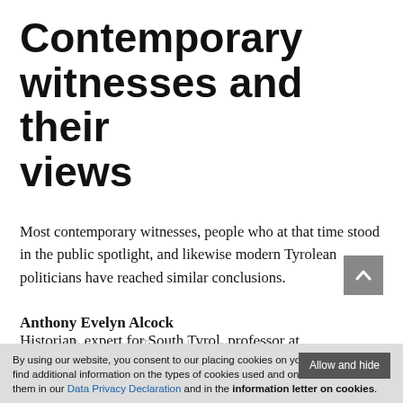Contemporary witnesses and their views
Most contemporary witnesses, people who at that time stood in the public spotlight, and likewise modern Tyrolean politicians have reached similar conclusions.
Anthony Evelyn Alcock
Historian, expert for South Tyrol, professor at
By using our website, you consent to our placing cookies on your device. You can find additional information on the types of cookies used and on how to disable them in our Data Privacy Declaration and in the information letter on cookies.
"Admittedly the South Tyrol policies pursued by